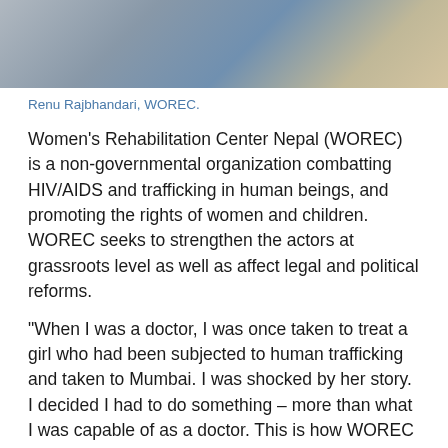[Figure (photo): Photograph of a person wearing a grey jacket and blue scarf, cropped at the top of the page]
Renu Rajbhandari, WOREC.
Women's Rehabilitation Center Nepal (WOREC) is a non-governmental organization combatting HIV/AIDS and trafficking in human beings, and promoting the rights of women and children. WOREC seeks to strengthen the actors at grassroots level as well as affect legal and political reforms.
“When I was a doctor, I was once taken to treat a girl who had been subjected to human trafficking and taken to Mumbai. I was shocked by her story. I decided I had to do something – more than what I was capable of as a doctor. This is how WOREC was born.
Women’s rights are not only...